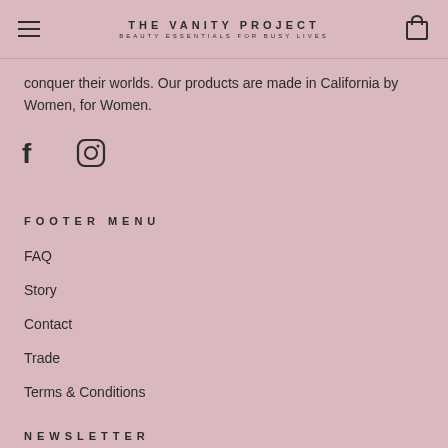THE VANITY PROJECT — BEAUTY ESSENTIALS FOR BUSY LIVES
conquer their worlds. Our products are made in California by Women, for Women.
[Figure (illustration): Facebook and Instagram social media icons]
FOOTER MENU
FAQ
Story
Contact
Trade
Terms & Conditions
NEWSLETTER